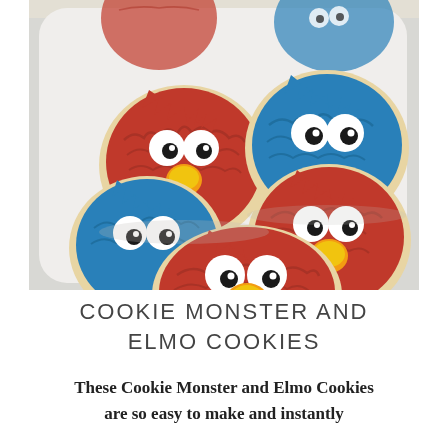[Figure (photo): Photograph of decorated sugar cookies on a white tray. Cookies are frosted to look like Elmo (red frosting, white googly eyes with black pupils, yellow nose) and Cookie Monster (blue frosting, white googly eyes with black pupils). Five cookies visible in the foreground on a light gray tray, with additional cookies blurred in the background.]
COOKIE MONSTER AND ELMO COOKIES
These Cookie Monster and Elmo Cookies are so easy to make and instantly